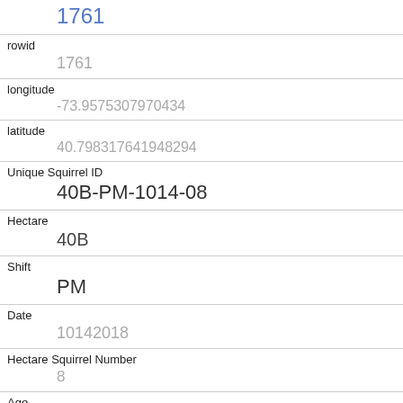| 1761 |
| rowid | 1761 |
| longitude | -73.9575307970434 |
| latitude | 40.798317641948294 |
| Unique Squirrel ID | 40B-PM-1014-08 |
| Hectare | 40B |
| Shift | PM |
| Date | 10142018 |
| Hectare Squirrel Number | 8 |
| Age | Adult |
| Primary Fur Color | Grey |